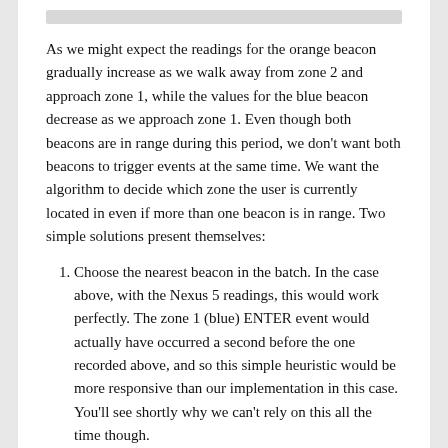As we might expect the readings for the orange beacon gradually increase as we walk away from zone 2 and approach zone 1, while the values for the blue beacon decrease as we approach zone 1. Even though both beacons are in range during this period, we don't want both beacons to trigger events at the same time. We want the algorithm to decide which zone the user is currently located in even if more than one beacon is in range. Two simple solutions present themselves:
Choose the nearest beacon in the batch. In the case above, with the Nexus 5 readings, this would work perfectly. The zone 1 (blue) ENTER event would actually have occurred a second before the one recorded above, and so this simple heuristic would be more responsive than our implementation in this case. You'll see shortly why we can't rely on this all the time though.
Require a minimum distance before a beacon can trigger an application event. This would not work